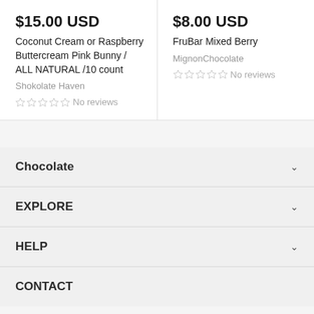$15.00 USD
Coconut Cream or Raspberry Buttercream Pink Bunny / ALL NATURAL /10 count
Shokolate Haven
No reviews
$8.00 USD
FruBar Mixed Berry
MignonChocolate
No reviews
Chocolate
EXPLORE
HELP
CONTACT